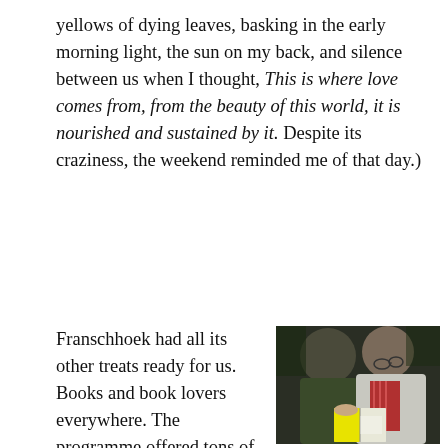yellows of dying leaves, basking in the early morning light, the sun on my back, and silence between us when I thought, This is where love comes from, from the beauty of this world, it is nourished and sustained by it. Despite its craziness, the weekend reminded me of that day.)
Franschhoek had all its other treats ready for us. Books and book lovers everywhere. The programme offered tons of stimulating encounters. The food and the wines were divine, as always. Gable Manor, the guest house we stayed in, was charming and cosy. In the words of Kgebetli
[Figure (photo): Two elderly men leaning over and reading a book together outdoors. One wears a dark green jacket, the other a white jacket with a red striped shirt. They appear to be at a book festival.]